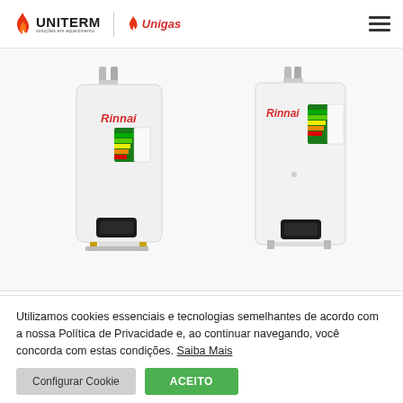UNITERM | Unigas
[Figure (photo): Two Rinnai wall-mounted gas water heaters shown side by side on a light grey background. Both units are white and display the red Rinnai logo and an energy label.]
Utilizamos cookies essenciais e tecnologias semelhantes de acordo com a nossa Política de Privacidade e, ao continuar navegando, você concorda com estas condições. Saiba Mais
Configurar Cookie
ACEITO